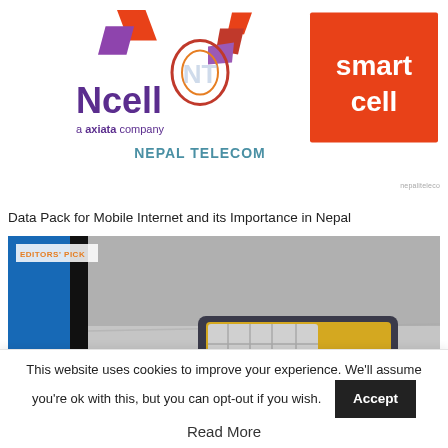[Figure (illustration): Three telecom logos: Ncell (axiata company) on the left in purple, Nepal Telecom in the center with a flame/antenna icon, and Smart Cell on the right with red background and white text.]
nepaliteleco
Data Pack for Mobile Internet and its Importance in Nepal
[Figure (photo): Close-up photo of a SIM card next to a smartphone on a gray surface. The SIM card shows gold and silver metallic contacts. An EDITORS' PICK badge is shown in the top-left corner of the image.]
This website uses cookies to improve your experience. We'll assume you're ok with this, but you can opt-out if you wish.
Read More